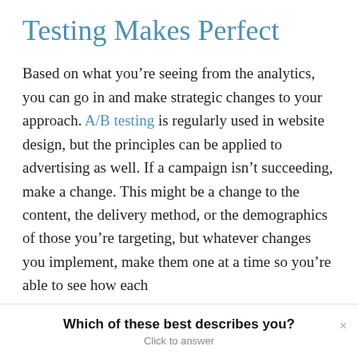Testing Makes Perfect
Based on what you’re seeing from the analytics, you can go in and make strategic changes to your approach. A/B testing is regularly used in website design, but the principles can be applied to advertising as well. If a campaign isn’t succeeding, make a change. This might be a change to the content, the delivery method, or the demographics of those you’re targeting, but whatever changes you implement, make them one at a time so you’re able to see how each
Which of these best describes you? Click to answer